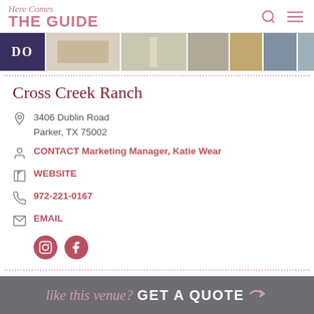Here Comes THE GUIDE
[Figure (photo): A horizontal strip of wedding venue photos showing decorations, aisle, couple, and venue details]
Cross Creek Ranch
3406 Dublin Road
Parker, TX 75002
CONTACT Marketing Manager, Katie Wear
WEBSITE
972-221-0167
EMAIL
[Figure (logo): Instagram and Facebook social media icon buttons]
like this venue? GET A QUOTE